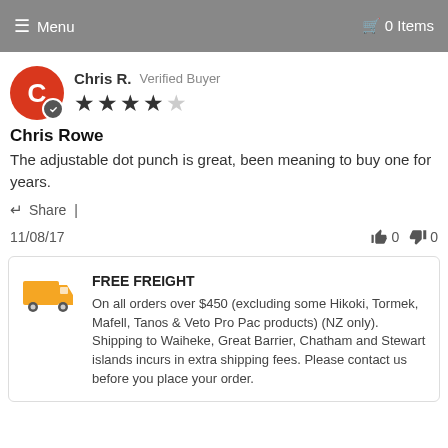☰ Menu   🛒 0 Items
Chris R.  Verified Buyer  ★★★★☆  Chris Rowe  The adjustable dot punch is great, been meaning to buy one for years.
Share |
11/08/17   👍 0   👎 0
FREE FREIGHT
On all orders over $450 (excluding some Hikoki, Tormek, Mafell, Tanos & Veto Pro Pac products) (NZ only). Shipping to Waiheke, Great Barrier, Chatham and Stewart islands incurs in extra shipping fees. Please contact us before you place your order.